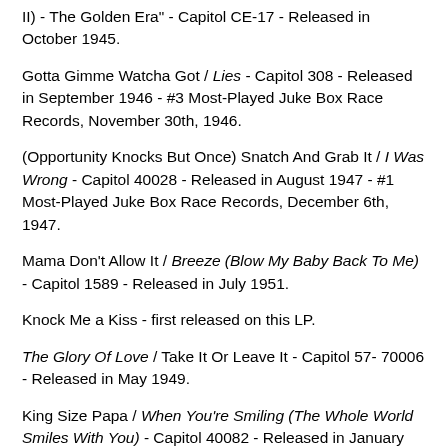II) - The Golden Era" - Capitol CE-17 - Released in October 1945.
Gotta Gimme Watcha Got / Lies - Capitol 308 - Released in September 1946 - #3 Most-Played Juke Box Race Records, November 30th, 1946.
(Opportunity Knocks But Once) Snatch And Grab It / I Was Wrong - Capitol 40028 - Released in August 1947 - #1 Most-Played Juke Box Race Records, December 6th, 1947.
Mama Don't Allow It / Breeze (Blow My Baby Back To Me) - Capitol 1589 - Released in July 1951.
Knock Me a Kiss - first released on this LP.
The Glory Of Love / Take It Or Leave It - Capitol 57- 70006 - Released in May 1949.
King Size Papa / When You're Smiling (The Whole World Smiles With You) - Capitol 40082 - Released in January 1948. #1 Most-Played Juke Box Race Records in April 1948.